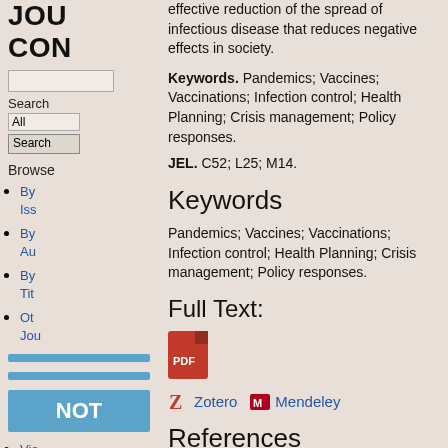JOU CON
effective reduction of the spread of infectious disease that reduces negative effects in society.
Keywords. Pandemics; Vaccines; Vaccinations; Infection control; Health Planning; Crisis management; Policy responses.
JEL. C52; L25; M14.
Keywords
Pandemics; Vaccines; Vaccinations; Infection control; Health Planning; Crisis management; Policy responses.
Full Text:
[Figure (illustration): PDF file icon in red]
Zotero   Mendeley
References
By Issue
By Author
By Title
Other Journals
Browse
NOT
View
Submit